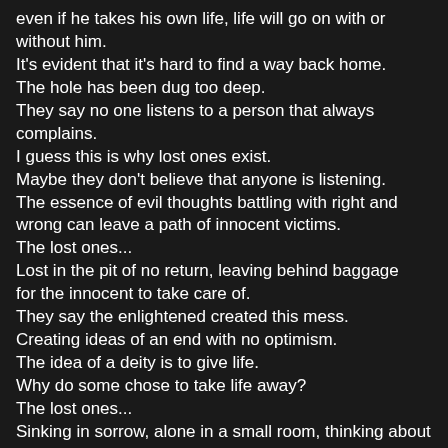even if he takes his own life, life will go on with or without him.
It's evident that it's hard to find a way back home.
The hole has been dug too deep.
They say no one listens to a person that always complains.
I guess this is why lost ones exist.
Maybe they don't believe that anyone is listening.
The essence of evil thoughts battling with right and wrong can leave a path of innocent victims.
The lost ones...
Lost in the pit of no return, leaving behind baggage  for the innocent to take care of.
They say the enlightened created this mess.
Creating ideas of an end with no optimism.
The idea of a deity is to give life.
Why do some chose to take life away?
The lost ones...
Sinking in sorrow, alone in a small room, thinking about a past that can never be done over.
The lost ones...
Creating a world of trouble in the midst of hidden lifestyles, soon to be revealed to the masses.